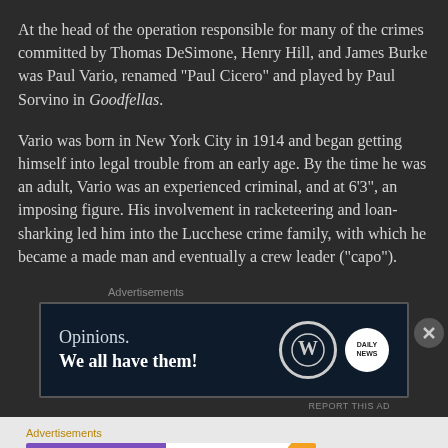At the head of the operation responsible for many of the crimes committed by Thomas DeSimone, Henry Hill, and James Burke was Paul Vario, renamed “Paul Cicero” and played by Paul Sorvino in Goodfellas.
Vario was born in New York City in 1914 and began getting himself into legal trouble from an early age. By the time he was an adult, Vario was an experienced criminal, and at 6’3”, an imposing figure. His involvement in racketeering and loan-sharking led him into the Lucchese crime family, with which he became a made man and eventually a crew leader (“capo”).
Advertisements
[Figure (screenshot): Advertisement banner: dark navy background with text 'Opinions. We all have them!' alongside WordPress and Daily logos]
Advertisements
[Figure (screenshot): Advertisement banner: WooCommerce purple logo with text 'How to start selling subscriptions online' and colorful decorative elements]